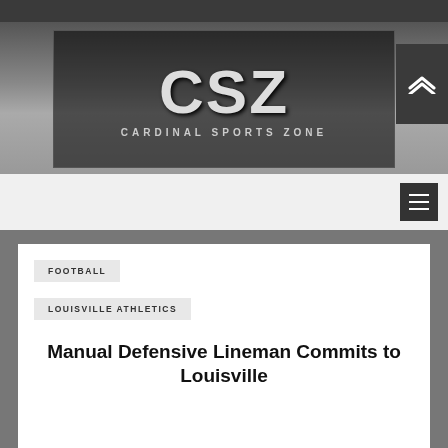[Figure (logo): Cardinal Sports Zone (CSZ) logo banner with large stylized block letters CSZ on a dark background with basketball arena crowd imagery, subtitle reads CARDINAL SPORTS ZONE]
FOOTBALL
LOUISVILLE ATHLETICS
Manual Defensive Lineman Commits to Louisville